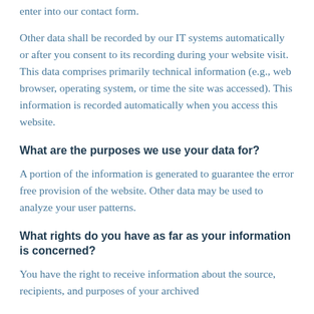enter into our contact form.
Other data shall be recorded by our IT systems automatically or after you consent to its recording during your website visit. This data comprises primarily technical information (e.g., web browser, operating system, or time the site was accessed). This information is recorded automatically when you access this website.
What are the purposes we use your data for?
A portion of the information is generated to guarantee the error free provision of the website. Other data may be used to analyze your user patterns.
What rights do you have as far as your information is concerned?
You have the right to receive information about the source, recipients, and purposes of your archived